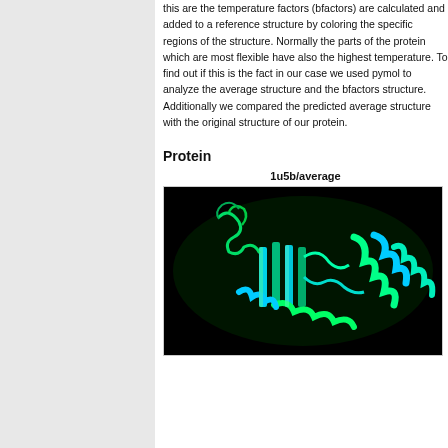this are the temperature factors (bfactors) are calculated and added to a reference structure by coloring the specific regions of the structure. Normally the parts of the protein which are most flexible have also the highest temperature. To find out if this is the fact in our case we used pymol to analyze the average structure and the bfactors structure. Additionally we compared the predicted average structure with the original structure of our protein.
Protein
1u5b/average
[Figure (photo): Molecular visualization of a protein structure (1u5b/average) rendered in PyMOL against a black background. The protein is shown as a ribbon/cartoon representation colored in green and cyan, showing alpha helices and beta sheets.]